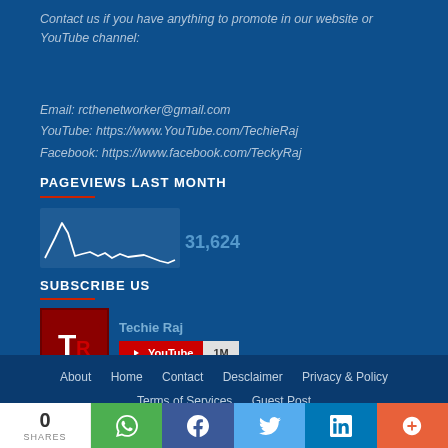Contact us if you have anything to promote in our website or YouTube channel:
Email: rcthenetworker@gmail.com
YouTube: https://www.YouTube.com/TechieRaj
Facebook: https://www.facebook.com/TeckyRaj
PAGEVIEWS LAST MONTH
[Figure (line-chart): Small pageviews sparkline chart showing 31,624 pageviews last month]
SUBSCRIBE US
[Figure (other): YouTube channel subscription widget for Techie Raj with 1M subscribers]
About   Home   Contact   Desclaimer   Privacy & Policy   Terms of Services   Guest Post
0 SHARES